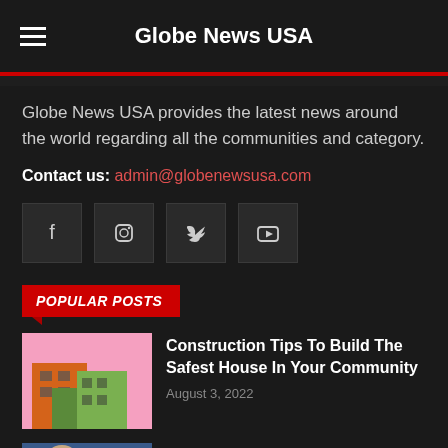Globe News USA
Globe News USA provides the latest news around the world regarding all the communities and category.
Contact us: admin@globenewsusa.com
[Figure (other): Social media icons: Facebook, Instagram, Twitter, YouTube]
POPULAR POSTS
[Figure (photo): Photo of a building from below against a pink sky]
Construction Tips To Build The Safest House In Your Community
August 3, 2022
[Figure (photo): Photo of business people]
Business Plan Writers Canada on Fiverr